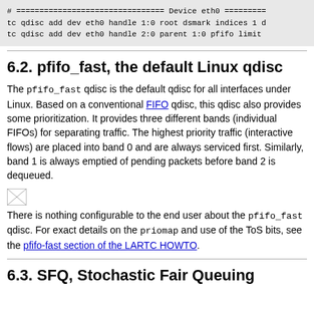# ================================ Device eth0 =========
tc qdisc add dev eth0 handle 1:0 root dsmark indices 1 d
tc qdisc add dev eth0 handle 2:0 parent 1:0 pfifo limit
6.2. pfifo_fast, the default Linux qdisc
The pfifo_fast qdisc is the default qdisc for all interfaces under Linux. Based on a conventional FIFO qdisc, this qdisc also provides some prioritization. It provides three different bands (individual FIFOs) for separating traffic. The highest priority traffic (interactive flows) are placed into band 0 and are always serviced first. Similarly, band 1 is always emptied of pending packets before band 2 is dequeued.
[Figure (other): Small broken/placeholder image icon]
There is nothing configurable to the end user about the pfifo_fast qdisc. For exact details on the priomap and use of the ToS bits, see the pfifo-fast section of the LARTC HOWTO.
6.3. SFQ, Stochastic Fair Queuing